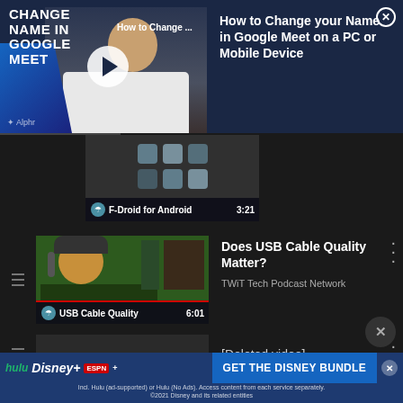[Figure (screenshot): YouTube app screenshot showing a video popup overlay for 'How to Change your Name in Google Meet on a PC or Mobile Device' with a thumbnail on the left and title on the right with a close button]
How to Change your Name in Google Meet on a PC or Mobile Device
[Figure (screenshot): Video thumbnail for F-Droid for Android with duration 3:21]
[Figure (screenshot): Video thumbnail for USB Cable Quality video from TWiT Tech Podcast Network, duration 6:01]
Does USB Cable Quality Matter?
TWiT Tech Podcast Network
[Deleted video]
[Figure (screenshot): Disney Bundle advertisement banner at the bottom showing Hulu, Disney+, ESPN+ logos with GET THE DISNEY BUNDLE call to action]